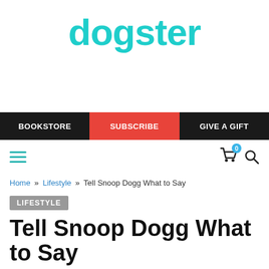[Figure (logo): Dogster logo in teal/turquoise rounded font]
BOOKSTORE   SUBSCRIBE   GIVE A GIFT
[Figure (screenshot): Toolbar with hamburger menu, cart icon with badge 0, and search icon]
Home » Lifestyle » Tell Snoop Dogg What to Say
LIFESTYLE
Tell Snoop Dogg What to Say